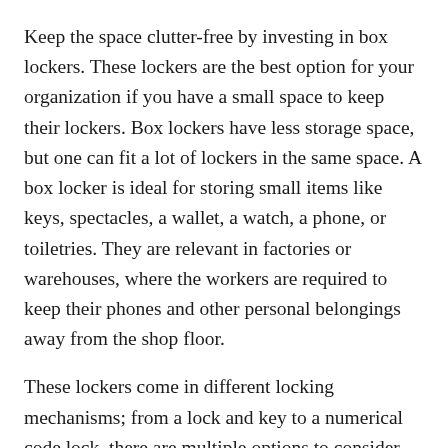Keep the space clutter-free by investing in box lockers. These lockers are the best option for your organization if you have a small space to keep their lockers. Box lockers have less storage space, but one can fit a lot of lockers in the same space. A box locker is ideal for storing small items like keys, spectacles, a wallet, a watch, a phone, or toiletries. They are relevant in factories or warehouses, where the workers are required to keep their phones and other personal belongings away from the shop floor.
These lockers come in different locking mechanisms; from a lock and key to a numerical code lock, there are multiple options to consider.
· Half-door lockers